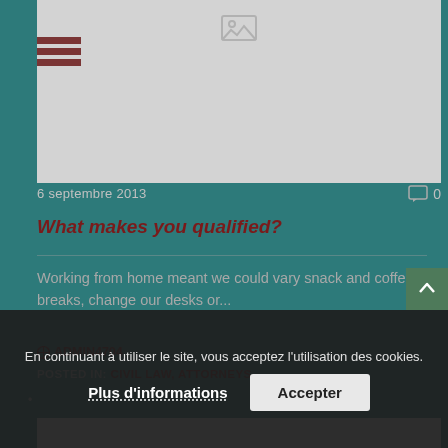[Figure (photo): Gray image placeholder with broken image icon at top center]
6 septembre 2013
0
What makes you qualified?
Working from home meant we could vary snack and coffee breaks, change our desks or...
ADMIN4704
POSTED IN: CIVIL LAW, ATTORNEYS
En continuant à utiliser le site, vous acceptez l'utilisation des cookies.
Plus d'informations
Accepter